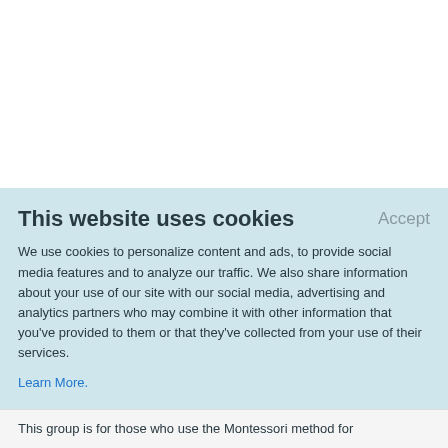This website uses cookies
Accept
We use cookies to personalize content and ads, to provide social media features and to analyze our traffic. We also share information about your use of our site with our social media, advertising and analytics partners who may combine it with other information that you've provided to them or that they've collected from your use of their services.
Learn More.
This group is for those who use the Montessori method for